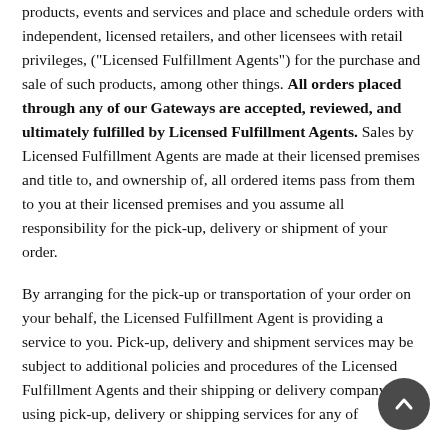products, events and services and place and schedule orders with independent, licensed retailers, and other licensees with retail privileges, ("Licensed Fulfillment Agents") for the purchase and sale of such products, among other things. All orders placed through any of our Gateways are accepted, reviewed, and ultimately fulfilled by Licensed Fulfillment Agents. Sales by Licensed Fulfillment Agents are made at their licensed premises and title to, and ownership of, all ordered items pass from them to you at their licensed premises and you assume all responsibility for the pick-up, delivery or shipment of your order.
By arranging for the pick-up or transportation of your order on your behalf, the Licensed Fulfillment Agent is providing a service to you. Pick-up, delivery and shipment services may be subject to additional policies and procedures of the Licensed Fulfillment Agents and their shipping or delivery company. By using pick-up, delivery or shipping services for any of